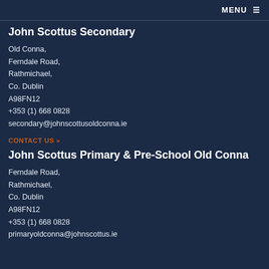MENU ☰
John Scottus Secondary
Old Conna,
Ferndale Road,
Rathmichael,
Co. Dublin
A98FN12
+353 (1) 668 0828
secondary@johnscottusoldconna.ie
CONTACT US »
John Scottus Primary & Pre-School Old Conna
Ferndale Road,
Rathmichael,
Co. Dublin
A98FN12
+353 (1) 668 0828
primaryoldconna@johnscottus.ie